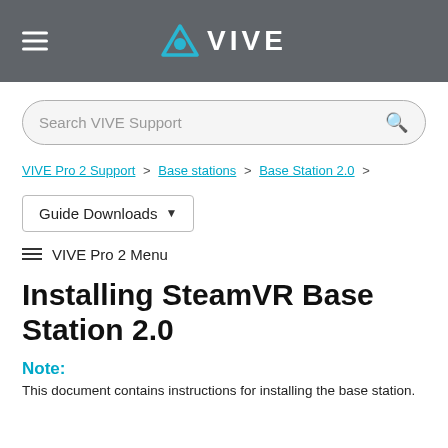VIVE
Search VIVE Support
VIVE Pro 2 Support > Base stations > Base Station 2.0 >
Guide Downloads
VIVE Pro 2 Menu
Installing SteamVR Base Station 2.0
Note:
This document contains instructions for installing the base station.